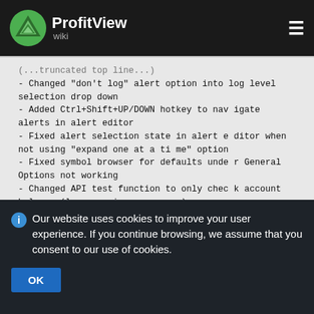ProfitView wiki
- Changed "don't log" alert option into log level selection drop down
- Added Ctrl+Shift+UP/DOWN hotkey to navigate alerts in alert editor
- Fixed alert selection state in alert editor when not using "expand one at a time" option
- Fixed symbol browser for defaults under General Options not working
- Changed API test function to only check account balance (less warning messages)
Our website uses cookies to improve your user experience. If you continue browsing, we assume that you consent to our use of cookies.
OK